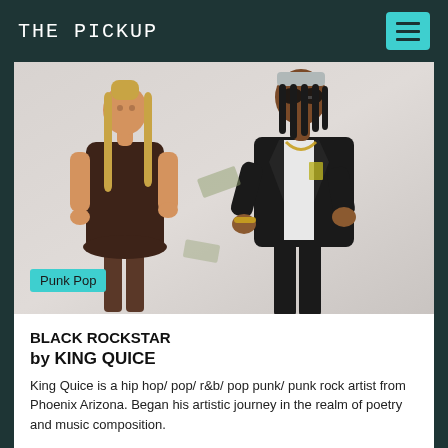THE PICKUP
[Figure (photo): Two people posing for a promotional photo. On the left is a woman in a dark brown mini dress with long blonde hair, smiling and holding something. On the right is a man in a black suit jacket over a white shirt, wearing sunglasses and a silver bandana, leaning forward with gold chain jewelry. A 'Punk Pop' tag is overlaid at the bottom-left of the image.]
BLACK ROCKSTAR
by KING QUICE
King Quice is a hip hop/ pop/ r&b/ pop punk/ punk rock artist from Phoenix Arizona. Began his artistic journey in the realm of poetry and music composition.